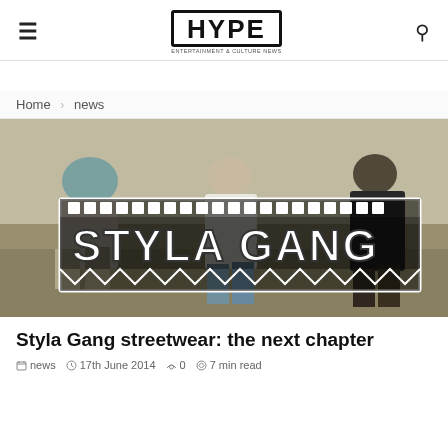≡  HYPE  🔍
Home › news
[Figure (photo): Three people standing outdoors in streetwear clothing with a large 'STYLA GANG' graphic overlay in bold distressed lettering]
Styla Gang streetwear: the next chapter
news  17th June 2014  0  7 min read